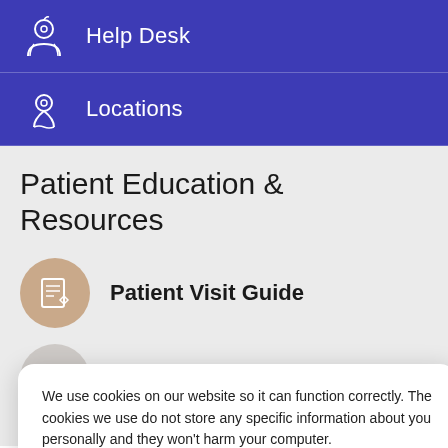Help Desk
Locations
Patient Education & Resources
Patient Visit Guide
Patient Forms
Post-Op Instructions
We use cookies on our website so it can function correctly. The cookies we use do not store any specific information about you personally and they won't harm your computer.
See our privacy policy for more information.
Accept